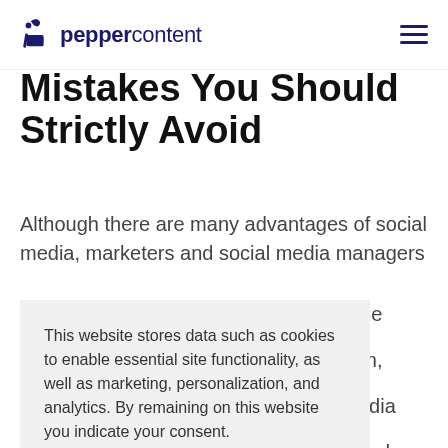peppercontent
Mistakes You Should Strictly Avoid
Although there are many advantages of social media, marketers and social media managers [obscured] the [obscured] section, [obscured] media [obscured] committed
This website stores data such as cookies to enable essential site functionality, as well as marketing, personalization, and analytics. By remaining on this website you indicate your consent.
Cookie Policy